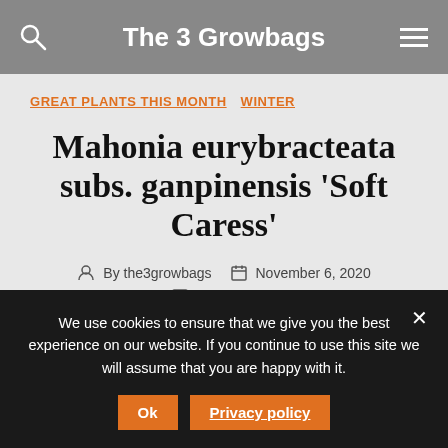The 3 Growbags
GREAT PLANTS THIS MONTH  WINTER
Mahonia eurybracteata subs. ganpinensis 'Soft Caress'
By the3growbags  November 6, 2020
7 Comments
We use cookies to ensure that we give you the best experience on our website. If you continue to use this site we will assume that you are happy with it.
Ok  Privacy policy